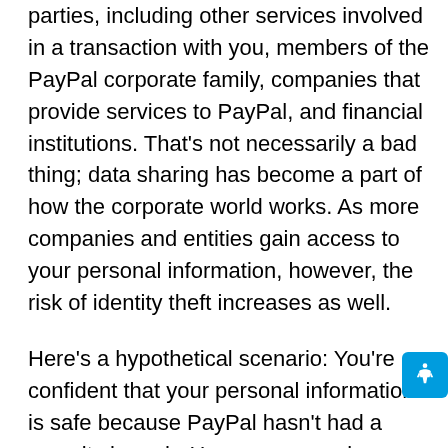share doors' personal information with third parties, including other services involved in a transaction with you, members of the PayPal corporate family, companies that provide services to PayPal, and financial institutions. That's not necessarily a bad thing; data sharing has become a part of how the corporate world works. As more companies and entities gain access to your personal information, however, the risk of identity theft increases as well.
Here's a hypothetical scenario: You're confident that your personal information is safe because PayPal hasn't had a security breach. However, a service provider to PayPal — one that has access to your information — had a security mishap and your information was leaked. Since you're not directly connected to the service provider, you...